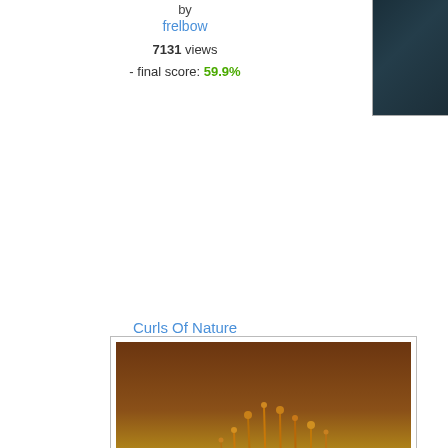by
frelbow
7131 views
- final score: 59.9%
Curls Of Nature
[Figure (photo): Close-up macro photo of moss with tall thin sporophytes (seed stalks) rising from bright green moss, with warm brown bokeh background]
by
angelicviolets
4842 views
- final score: 59.1%